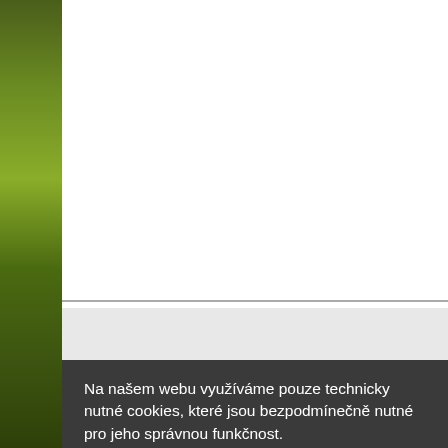Notice: Trying to get /www/doc/www.czec detail.php on line 88
[Figure (screenshot): Green nature/field image strip on the left side of the page]
Na našem webu využíváme pouze technicky nutné cookies, které jsou bezpodmínečně nutné pro jeho správnou funkčnost.
Více informací
V pořádku